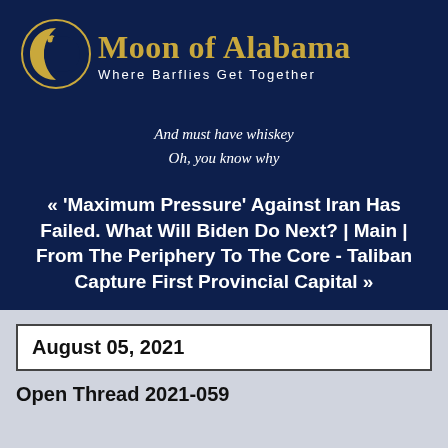[Figure (logo): Moon of Alabama crescent moon logo with golden color]
Moon of Alabama
Where Barflies Get Together
And must have whiskey
Oh, you know why
« 'Maximum Pressure' Against Iran Has Failed. What Will Biden Do Next? | Main | From The Periphery To The Core - Taliban Capture First Provincial Capital »
August 05, 2021
Open Thread 2021-059